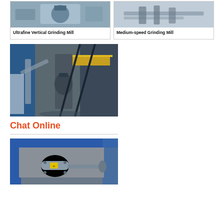[Figure (photo): Ultrafine Vertical Grinding Mill product photo — industrial machinery]
Ultrafine Vertical Grinding Mill
[Figure (photo): Medium-speed Grinding Mill product photo — industrial machinery]
Medium-speed Grinding Mill
[Figure (photo): Industrial grinding plant facility interior with large vertical mill, pipes, and steel structure]
Chat Online
[Figure (photo): Close-up of mechanical grinding mill component with blue frame and metallic shaft/rotor assembly]